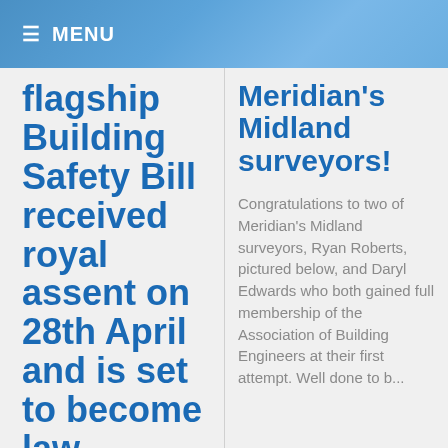≡ MENU
flagship Building Safety Bill received royal assent on 28th April and is set to become law
Meridian's Midland surveyors!
Congratulations to two of Meridian's Midland surveyors, Ryan Roberts, pictured below, and Daryl Edwards who both gained full membership of the Association of Building Engineers at their first attempt. Well done to b...